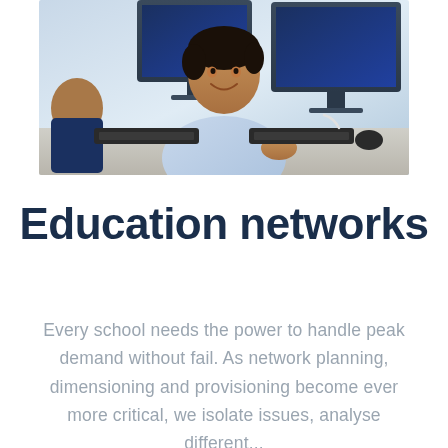[Figure (photo): A young student at a computer desk looking back toward the camera with a smile, wearing a light blue shirt. Computer monitors and keyboards are visible in the background. Another person is partially visible on the left.]
Education networks
Every school needs the power to handle peak demand without fail. As network planning, dimensioning and provisioning become ever more critical, we isolate issues, analyse different...